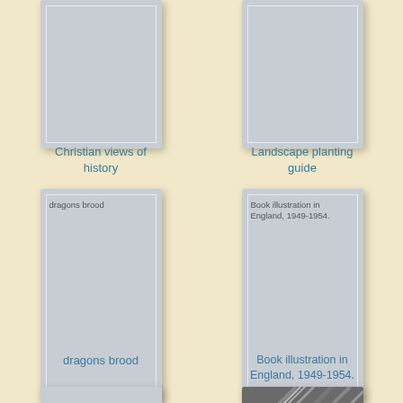[Figure (illustration): Book cover placeholder (gray rectangle) for 'Christian views of history']
Christian views of history
[Figure (illustration): Book cover placeholder (gray rectangle) for 'Landscape planting guide']
Landscape planting guide
[Figure (illustration): Book cover placeholder (gray rectangle) with inner text 'dragons brood']
dragons brood
[Figure (illustration): Book cover placeholder (gray rectangle) with inner text 'Book illustration in England, 1949-1954.']
Book illustration in England, 1949-1954.
[Figure (illustration): Partial book cover placeholder at bottom left (gray)]
[Figure (photo): Partial photo image at bottom right showing diagonal lines/texture]